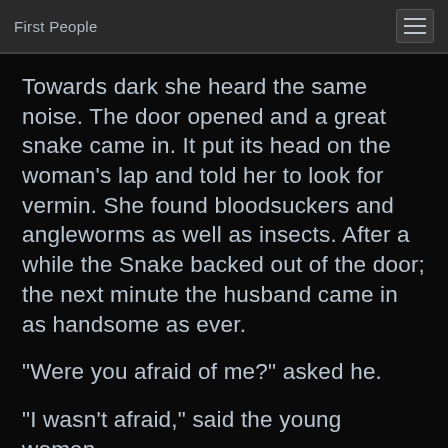First People
Towards dark she heard the same noise. The door opened and a great snake came in. It put its head on the woman's lap and told her to look for vermin. She found bloodsuckers and angleworms as well as insects. After a while the Snake backed out of the door; the next minute the husband came in as handsome as ever.
"Were you afraid of me?" asked he.
"I wasn't afraid," said the young woman.
The next day the man went to hunt. When he closed the door the woman heard the same kind of